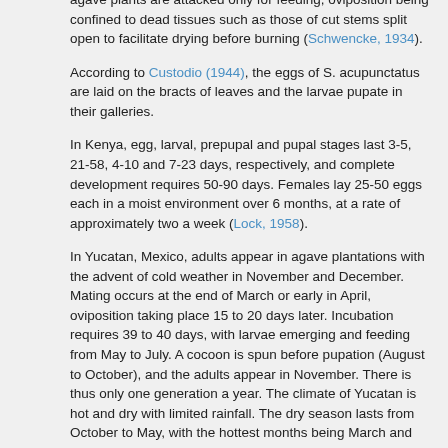agave plants are attacked only for feeding, oviposition being confined to dead tissues such as those of cut stems split open to facilitate drying before burning (Schwencke, 1934).
According to Custodio (1944), the eggs of S. acupunctatus are laid on the bracts of leaves and the larvae pupate in their galleries.
In Kenya, egg, larval, prepupal and pupal stages last 3-5, 21-58, 4-10 and 7-23 days, respectively, and complete development requires 50-90 days. Females lay 25-50 eggs each in a moist environment over 6 months, at a rate of approximately two a week (Lock, 1958).
In Yucatan, Mexico, adults appear in agave plantations with the advent of cold weather in November and December. Mating occurs at the end of March or early in April, oviposition taking place 15 to 20 days later. Incubation requires 39 to 40 days, with larvae emerging and feeding from May to July. A cocoon is spun before pupation (August to October), and the adults appear in November. There is thus only one generation a year. The climate of Yucatan is hot and dry with limited rainfall. The dry season lasts from October to May, with the hottest months being March and April, just prior to the rains. The rainy season is thus occupied by the immature stages, whereas the 6 months of dry weather are spent as adults (Harris, 1936).
Laboratory studies concerning the biology of S. acupunctatus performed in Mexico during 1976 (35°C and 65-85% RH) revealed that